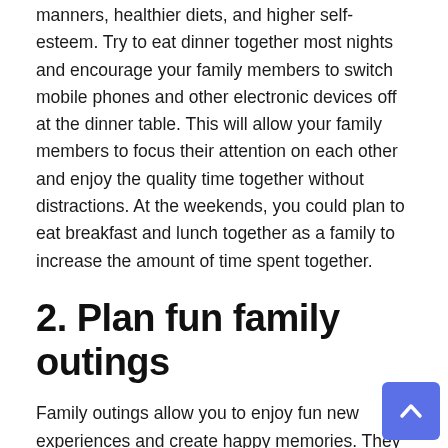manners, healthier diets, and higher self-esteem. Try to eat dinner together most nights and encourage your family members to switch mobile phones and other electronic devices off at the dinner table. This will allow your family members to focus their attention on each other and enjoy the quality time together without distractions. At the weekends, you could plan to eat breakfast and lunch together as a family to increase the amount of time spent together.
2. Plan fun family outings
Family outings allow you to enjoy fun new experiences and create happy memories. They